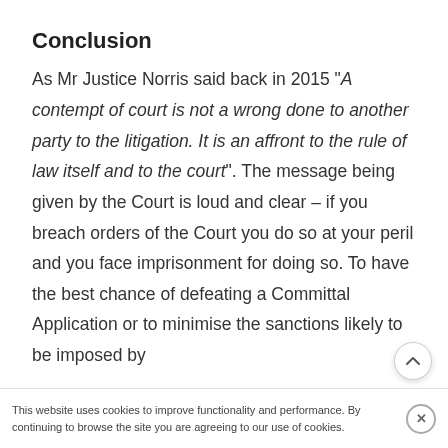Conclusion
As Mr Justice Norris said back in 2015 "A contempt of court is not a wrong done to another party to the litigation. It is an affront to the rule of law itself and to the court". The message being given by the Court is loud and clear – if you breach orders of the Court you do so at your peril and you face imprisonment for doing so. To have the best chance of defeating a Committal Application or to minimise the sanctions likely to be imposed by
This website uses cookies to improve functionality and performance. By continuing to browse the site you are agreeing to our use of cookies.